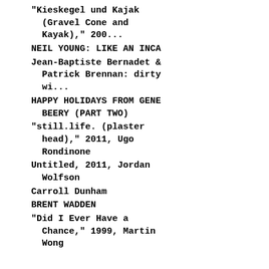"Kieskegel und Kajak (Gravel Cone and Kayak)," 200...
NEIL YOUNG: LIKE AN INCA
Jean-Baptiste Bernadet & Patrick Brennan: dirty wi...
HAPPY HOLIDAYS FROM GENE BEERY (PART TWO)
"still.life. (plaster head)," 2011, Ugo Rondinone
Untitled, 2011, Jordan Wolfson
Carroll Dunham
BRENT WADDEN
"Did I Ever Have a Chance," 1999, Martin Wong